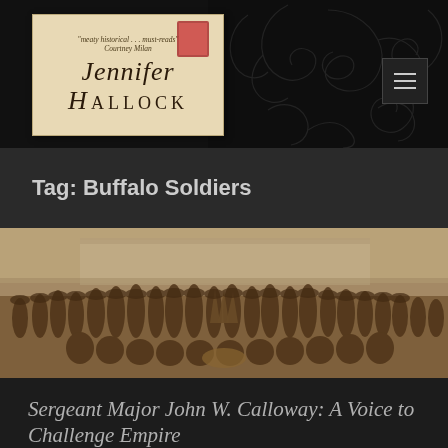[Figure (logo): Jennifer Hallock author logo on aged parchment/envelope background with a red postage stamp, tagline 'meaty historical... must-reads - Courtney Milan']
Tag: Buffalo Soldiers
[Figure (photo): Historical sepia photograph of a large group of Buffalo Soldiers (African American military unit) posed outdoors in front of a building near water, with stacked rifles visible in the center foreground.]
Sergeant Major John W. Calloway: A Voice to Challenge Empire